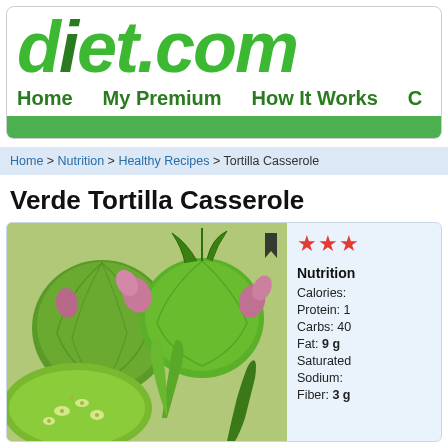diet.com
Home  My Premium  How It Works
Home > Nutrition > Healthy Recipes > Tortilla Casserole
Verde Tortilla Casserole
[Figure (photo): Photo of green tomatillos and vegetables for Verde Tortilla Casserole recipe]
Nutrition
Calories:
Protein: 1
Carbs: 40
Fat: 9 g
Saturated
Sodium:
Fiber: 3 g